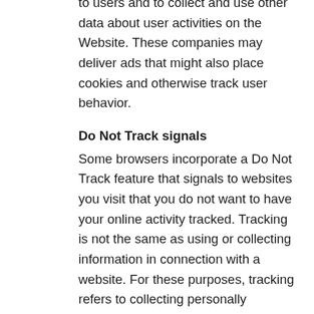to users and to collect and use other data about user activities on the Website. These companies may deliver ads that might also place cookies and otherwise track user behavior.
Do Not Track signals
Some browsers incorporate a Do Not Track feature that signals to websites you visit that you do not want to have your online activity tracked. Tracking is not the same as using or collecting information in connection with a website. For these purposes, tracking refers to collecting personally identifiable information from consumers who use or visit a website or online service as they move across different websites over time. How browsers communicate the Do Not Track signal is not yet uniform. As a result, this Website is not yet set up to interpret or